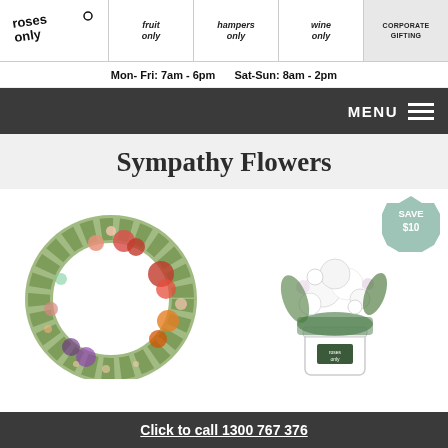[Figure (logo): Roses Only logo — stylized handwritten text]
[Figure (infographic): Navigation tabs: fruit only, hampers only, wine only, corporate gifting]
Mon- Fri: 7am - 6pm   Sat-Sun: 8am - 2pm
MENU
Sympathy Flowers
[Figure (photo): Circular floral wreath with native Australian flowers including proteas, banksias, and pink florals]
[Figure (photo): White flower bouquet in white cylindrical vase with Roses Only branded ribbon, with SAVE $10 badge]
Click to call 1300 767 376